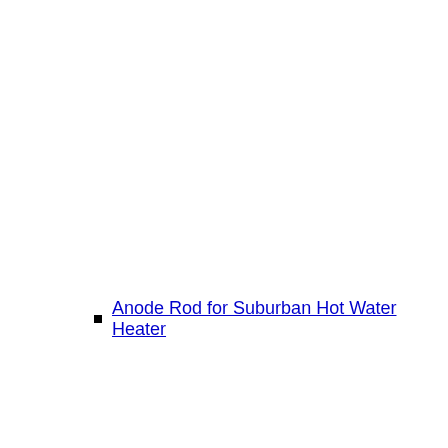Anode Rod for Suburban Hot Water Heater